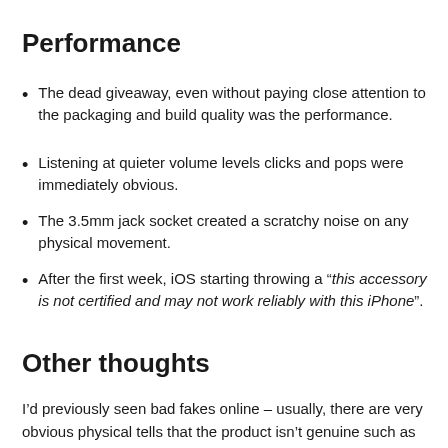Performance
The dead giveaway, even without paying close attention to the packaging and build quality was the performance.
Listening at quieter volume levels clicks and pops were immediately obvious.
The 3.5mm jack socket created a scratchy noise on any physical movement.
After the first week, iOS starting throwing a “this accessory is not certified and may not work reliably with this iPhone”.
Other thoughts
I’d previously seen bad fakes online – usually, there are very obvious physical tells that the product isn’t genuine such as size, OEM-style packaging or markings. In this case, almost everything superficially appeared right until you look closer. I’d